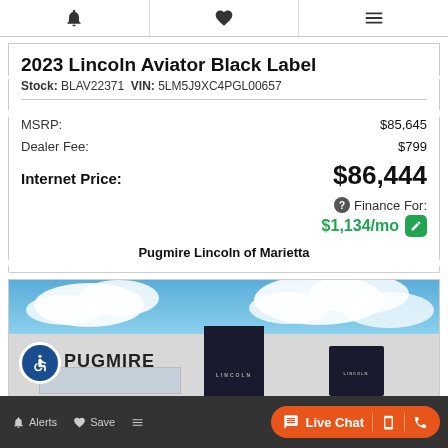Navigation bar with alerts, save, and filter icons
2023 Lincoln Aviator Black Label
Stock: BLAV22371 VIN: 5LM5J9XC4PGL00657
MSRP: $85,645
Dealer Fee: $799
Internet Price: $86,444
Finance For: $1,134/mo
Pugmire Lincoln of Marietta
[Figure (photo): Exterior photo of Pugmire Lincoln dealership building with blue sky and clouds]
Alerts | Save | Live Chat | phone | call icons